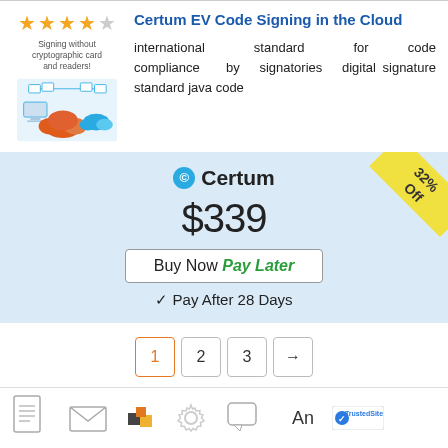[Figure (illustration): Star rating showing 3.5 out of 5 gold stars, and a cloud computing illustration with network icons]
Certum EV Code Signing in the Cloud
international standard for code compliance by signatories digital signature standard java code
[Figure (infographic): Certum brand pricing box with $339 price, Buy Now Pay Later button, 32% Off badge, and Pay After 28 Days note]
✓ Pay After 28 Days
[Figure (other): Pagination controls showing page buttons 1 (active/orange), 2, 3, and next arrow]
[Figure (other): Footer icons row with document, envelope, gear, chat bubble icons and TrustedSite badge, and text 'An']